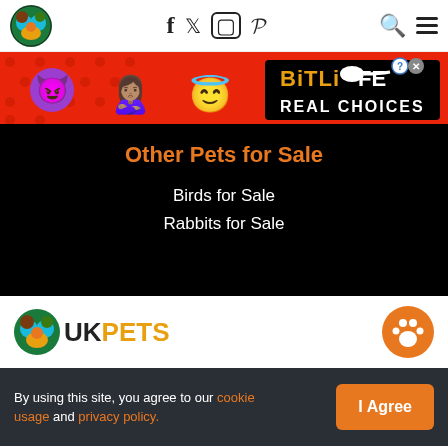UKPets site header with logo, social icons (f, Twitter, Instagram, Pinterest), search and menu
[Figure (illustration): BitLife Real Choices advertising banner with emoji characters on red background]
Other Pets for Sale
Birds for Sale
Rabbits for Sale
[Figure (logo): UKPets logo with paw icon and text UKPETS, plus orange paw circle on right]
By using this site, you agree to our cookie usage and privacy policy.